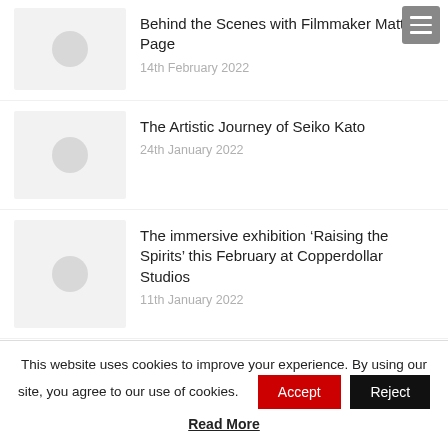Behind the Scenes with Filmmaker Matt Page
14th February 2022
The Artistic Journey of Seiko Kato
24th January 2022
The immersive exhibition ‘Raising the Spirits’ this February at Copperdollar Studios
11th January 2022
This website uses cookies to improve your experience. By using our site, you agree to our use of cookies.
Read More